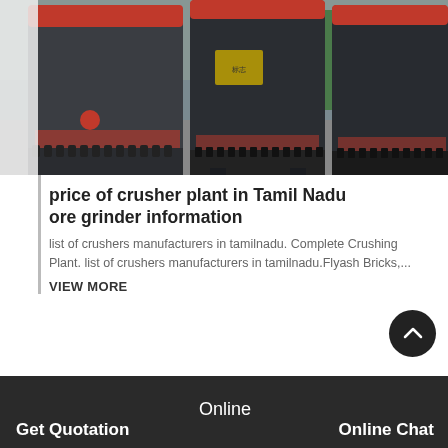[Figure (photo): Industrial crusher/grinder machines in a factory setting. Three large dark metal cylindrical grinding machines with red rings are visible in an industrial facility.]
price of crusher plant in Tamil Nadu ore grinder information
list of crushers manufacturers in tamilnadu. Complete Crushing Plant. list of crushers manufacturers in tamilnadu.Flyash Bricks,...
VIEW MORE
Get Quotation  Online  Online Chat